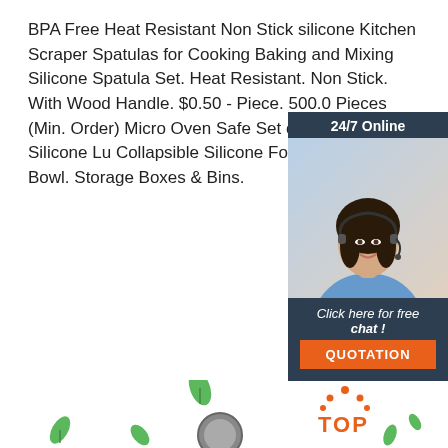BPA Free Heat Resistant Non Stick silicone Kitchen Scraper Spatulas for Cooking Baking and Mixing Silicone Spatula Set. Heat Resistant. Non Stick. With Wood Handle. $0.50 - Piece. 500.0 Pieces (Min. Order) Micro Oven Safe Set of 4 Round Silicone Lu Collapsible Silicone Food Storage Co Bowl. Storage Boxes & Bins.
[Figure (infographic): 24/7 Online chat widget with customer service representative photo, 'Click here for free chat!' text and orange QUOTATION button]
Get Price
[Figure (illustration): Bottom decorative area with green leaves, kitchen utensil, and orange TOP badge with dots]